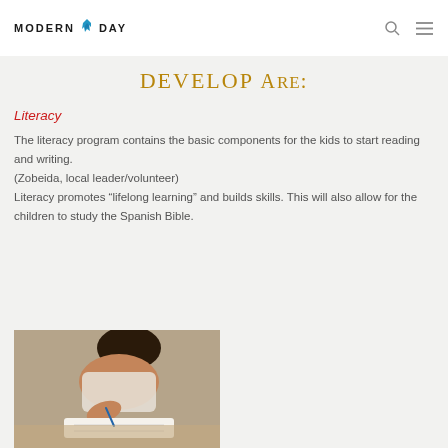MODERN DAY
DEVELOP ARE:
Literacy
The literacy program contains the basic components for the kids to start reading and writing.
(Zobeida, local leader/volunteer)
Literacy promotes “lifelong learning” and builds skills. This will also allow for the children to study the Spanish Bible.
[Figure (photo): A child writing or studying, bent over a notebook, photographed from above and close up.]